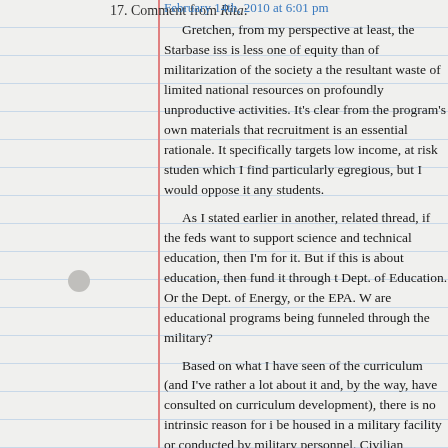17. Comment from Rita:
February 14th, 2010 at 6:01 pm
Gretchen, from my perspective at least, the Starbase issue is less one of equity than of militarization of the society and the resultant waste of limited national resources on profoundly unproductive activities. It's clear from the program's own materials that recruitment is an essential rationale. It specifically targets low income, at risk students, which I find particularly egregious, but I would oppose it for any students.

As I stated earlier in another, related thread, if the feds want to support science and technical education, then I'm for it. But if this is about education, then fund it through the Dept. of Education. Or the Dept. of Energy, or the EPA. Why are educational programs being funneled through the military?

Based on what I have seen of the curriculum (and I've read rather a lot about it and, by the way, have consulted on curriculum development), there is no intrinsic reason for it to be housed in a military facility or conducted by military personnel. Civilian teachers and any civilian institution with minimal equipment — like science museums, middle or high schools, even some non-profit agencies — could house the program. In fact, a federal contract for the program could be a significant resource for capacity building for such